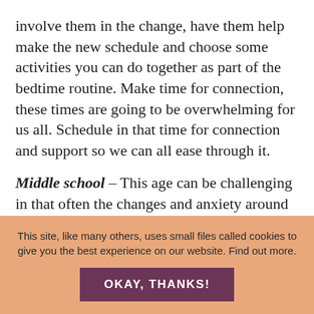involve them in the change, have them help make the new schedule and choose some activities you can do together as part of the bedtime routine. Make time for connection, these times are going to be overwhelming for us all. Schedule in that time for connection and support so we can all ease through it.
Middle school – This age can be challenging in that often the changes and anxiety around them can come out as defiance and resistance. Open the communication, have patience to work through what they may be feeling and what may be at the root of those behaviours. Here it may be helpful to draw connections to the friends and activities they may be looking forward to returning to at school. Discuss goals for the next year, teams they may want to try out for, courses they are looking forward to. By opening that communication and
This site, like many others, uses small files called cookies to give you the best experience on our website. Find out more.
OKAY, THANKS!